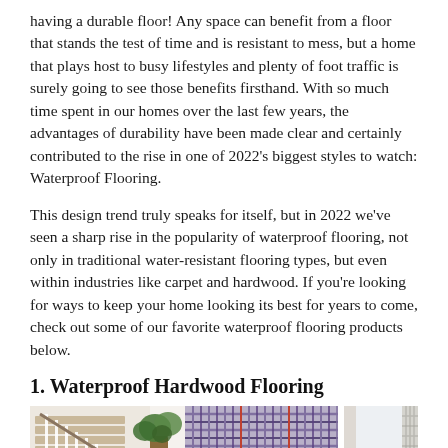having a durable floor! Any space can benefit from a floor that stands the test of time and is resistant to mess, but a home that plays host to busy lifestyles and plenty of foot traffic is surely going to see those benefits firsthand. With so much time spent in our homes over the last few years, the advantages of durability have been made clear and certainly contributed to the rise in one of 2022’s biggest styles to watch: Waterproof Flooring.
This design trend truly speaks for itself, but in 2022 we’ve seen a sharp rise in the popularity of waterproof flooring, not only in traditional water-resistant flooring types, but even within industries like carpet and hardwood. If you’re looking for ways to keep your home looking its best for years to come, check out some of our favorite waterproof flooring products below.
1. Waterproof Hardwood Flooring
[Figure (photo): Interior photo showing a staircase with white balusters and wood treads on the left, a potted green plant in the center, and colorful plaid/checkered fabric or wallpaper on the right side. Part of a second photo on the far right shows a bright room with curtains.]